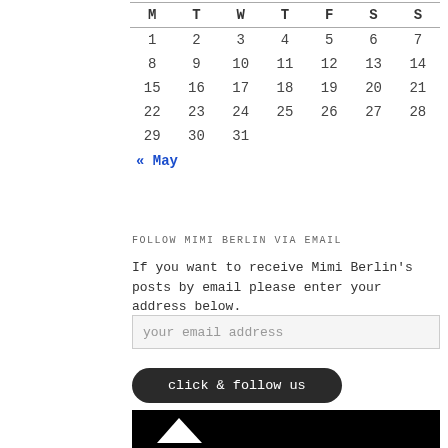| M | T | W | T | F | S | S |
| --- | --- | --- | --- | --- | --- | --- |
| 1 | 2 | 3 | 4 | 5 | 6 | 7 |
| 8 | 9 | 10 | 11 | 12 | 13 | 14 |
| 15 | 16 | 17 | 18 | 19 | 20 | 21 |
| 22 | 23 | 24 | 25 | 26 | 27 | 28 |
| 29 | 30 | 31 |  |  |  |  |
« May
FOLLOW MIMI BERLIN VIA EMAIL
If you want to receive Mimi Berlin's posts by email please enter your address below.
your email address
click & follow us
[Figure (other): Black image area with a white triangle/play button icon]